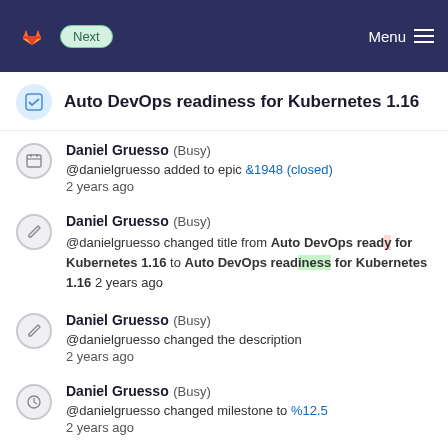Next | Menu
Auto DevOps readiness for Kubernetes 1.16
Daniel Gruesso (Busy) @danielgruesso added to epic &1948 (closed) 2 years ago
Daniel Gruesso (Busy) @danielgruesso changed title from Auto DevOps ready for Kubernetes 1.16 to Auto DevOps readiness for Kubernetes 1.16 2 years ago
Daniel Gruesso (Busy) @danielgruesso changed the description 2 years ago
Daniel Gruesso (Busy) @danielgruesso changed milestone to %12.5 2 years ago